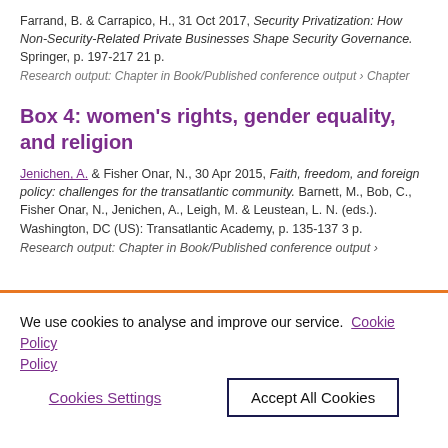Farrand, B. & Carrapico, H., 31 Oct 2017, Security Privatization: How Non-Security-Related Private Businesses Shape Security Governance. Springer, p. 197-217 21 p.
Research output: Chapter in Book/Published conference output › Chapter
Box 4: women's rights, gender equality, and religion
Jenichen, A. & Fisher Onar, N., 30 Apr 2015, Faith, freedom, and foreign policy: challenges for the transatlantic community. Barnett, M., Bob, C., Fisher Onar, N., Jenichen, A., Leigh, M. & Leustean, L. N. (eds.). Washington, DC (US): Transatlantic Academy, p. 135-137 3 p.
Research output: Chapter in Book/Published conference output ›
We use cookies to analyse and improve our service. Cookie Policy
Cookies Settings
Accept All Cookies